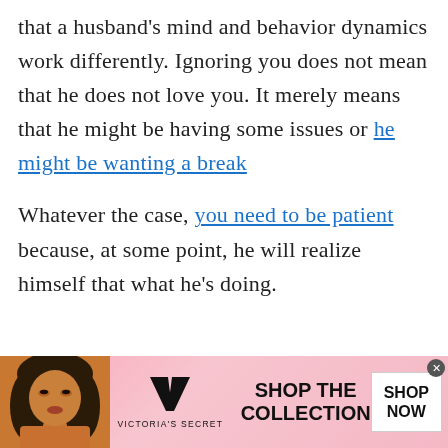that a husband's mind and behavior dynamics work differently. Ignoring you does not mean that he does not love you. It merely means that he might be having some issues or he might be wanting a break
Whatever the case, you need to be patient because, at some point, he will realize himself that what he's doing.
[Figure (infographic): Victoria's Secret advertisement banner with a model, VS logo, 'SHOP THE COLLECTION' text, and 'SHOP NOW' button on a pink gradient background.]